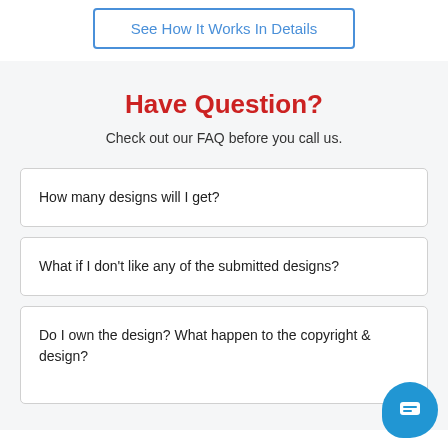See How It Works In Details
Have Question?
Check out our FAQ before you call us.
How many designs will I get?
What if I don't like any of the submitted designs?
Do I own the design? What happen to the copyright & design?